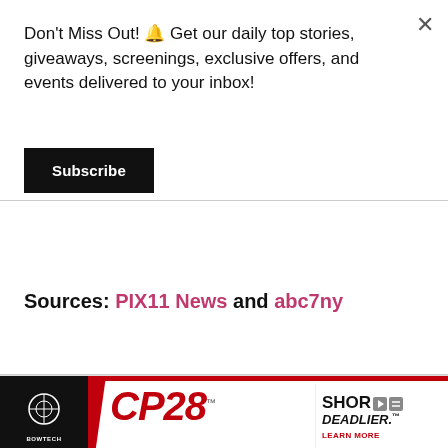Don't Miss Out! 🔔 Get our daily top stories, giveaways, screenings, exclusive offers, and events delivered to your inbox!
Subscribe
Sources: PIX11 News and abc7ny
< Previous Article
[Figure (photo): Advertisement banner for Bowtech CP28 bow: black section with Bowtech logo on left, large red CP28 text in center, 'SHOR DEADLIER. LEARN MORE' text on right]